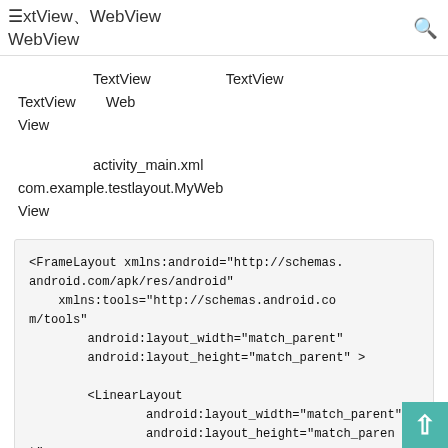≡xtView、WebView、…（略）…WebView、🔍
また、TextViewではなくTextViewを使いたい場合はTextViewをWebViewに変えるだけで対応できます。
次はactivity_main.xmlとcom.example.testlayout.MyWebViewを編集します。
[Figure (screenshot): Code block showing XML layout with FrameLayout and LinearLayout elements]